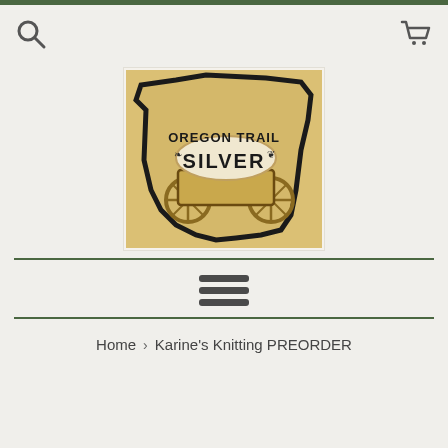[Figure (logo): Oregon Trail Silver logo — Oregon state shape outline with a vintage covered wagon image inside. Text reads 'OREGON TRAIL' above 'SILVER' in bold lettering, with leaf/laurel decorations.]
[Figure (infographic): Hamburger menu icon — three horizontal dark gray bars stacked vertically, centered on the page.]
Home > Karine's Knitting PREORDER